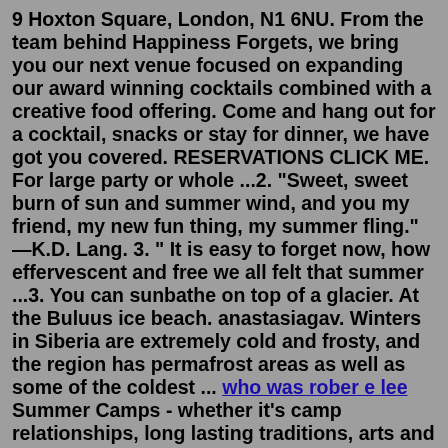9 Hoxton Square, London, N1 6NU. From the team behind Happiness Forgets, we bring you our next venue focused on expanding our award winning cocktails combined with a creative food offering. Come and hang out for a cocktail, snacks or stay for dinner, we have got you covered. RESERVATIONS CLICK ME. For large party or whole ...2. "Sweet, sweet burn of sun and summer wind, and you my friend, my new fun thing, my summer fling." —K.D. Lang. 3. " It is easy to forget now, how effervescent and free we all felt that summer ...3. You can sunbathe on top of a glacier. At the Buluus ice beach. anastasiagav. Winters in Siberia are extremely cold and frosty, and the region has permafrost areas as well as some of the coldest ... who was rober e lee Summer Camps - whether it's camp relationships, long lasting traditions, arts and crafts, and more, this is EVERY SUMMER CAMP EVER!CASTIan HecoxNoah Grossman...For six summers, through hazy afternoons on the water and warm summer